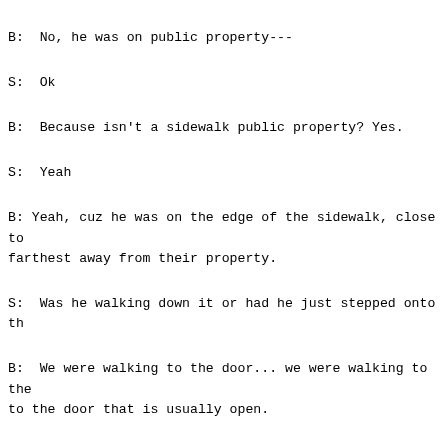B:  No, he was on public property---
S:  Ok
B:  Because isn't a sidewalk public property? Yes.
S:  Yeah
B: Yeah, cuz he was on the edge of the sidewalk, close to farthest away from their property.
S:  Was he walking down it or had he just stepped onto th
B:  We were walking to the door... we were walking to the to the door that is usually open.
S:  Mhmm
B:  And no one was out there to greet us and they usually thought, Well, they aren't going to let us go in, but it because [my husband] had his hands on the door to see if behind [my husband] and Mark was behind me, a few feet be us and [inaudible] the door.  So he was not anywhere on t just had the video camera on.
S:  Mhmm
B:  And these two guys out of nowhere came and just jumpe said, "What are you doing, I'm just videotaping this." An this is illegal" and I don't remember what else.  I hope